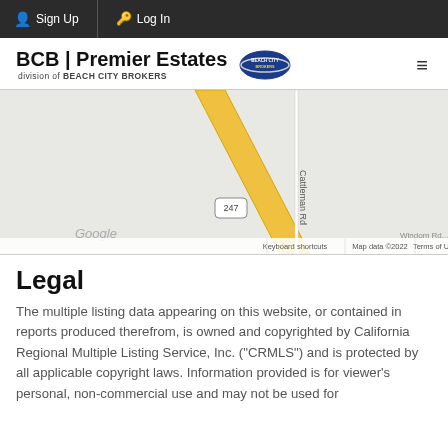Sign Up | Log In
[Figure (logo): BCB | Premier Estates division of BEACH CITY BROKERS logo with Beach City Brokers badge and hamburger menu icon]
[Figure (map): Google Maps screenshot showing Cattleman Rd and route 247 intersection area with zoom controls. Map data ©2022. Shows: Keyboard shortcuts, Map data ©2022, Terms of Use]
Legal
The multiple listing data appearing on this website, or contained in reports produced therefrom, is owned and copyrighted by California Regional Multiple Listing Service, Inc. ("CRMLS") and is protected by all applicable copyright laws. Information provided is for viewer's personal, non-commercial use and may not be used for